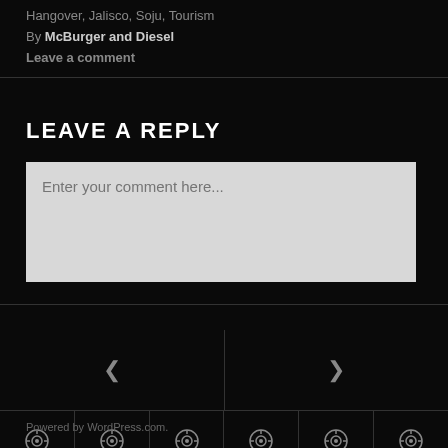Hangover, Jalisco, Soju, Tourism
By McBurger and Diesel
Leave a comment
LEAVE A REPLY
Enter your comment here...
[Figure (other): Navigation left arrow (chevron) and right arrow (chevron) in a two-column split with divider]
[Figure (other): Thumbnail strip with 6 cells each containing a circular icon (camera/lens symbol)]
Powered by WordPress.com.